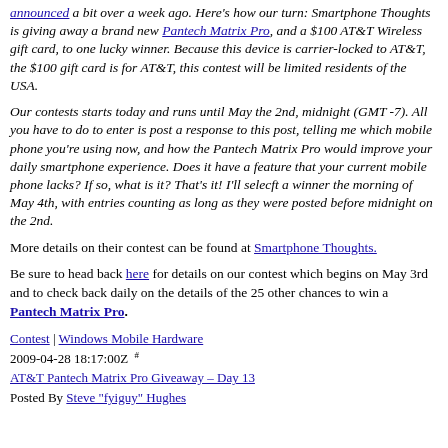announced a bit over a week ago. Here's how our turn: Smartphone Thoughts is giving away a brand new Pantech Matrix Pro, and a $100 AT&T Wireless gift card, to one lucky winner. Because this device is carrier-locked to AT&T, the $100 gift card is for AT&T, this contest will be limited residents of the USA.
Our contests starts today and runs until May the 2nd, midnight (GMT-7). All you have to do to enter is post a response to this post, telling me which mobile phone you're using now, and how the Pantech Matrix Pro would improve your daily smartphone experience. Does it have a feature that your current mobile phone lacks? If so, what is it? That's it! I'll selecft a winner the morning of May 4th, with entries counting as long as they were posted before midnight on the 2nd.
More details on their contest can be found at Smartphone Thoughts.
Be sure to head back here for details on our contest which begins on May 3rd and to check back daily on the details of the 25 other chances to win a Pantech Matrix Pro.
Contest | Windows Mobile Hardware
2009-04-28 18:17:00Z  #
AT&T Pantech Matrix Pro Giveaway – Day 13
Posted By Steve "fyiguy" Hughes